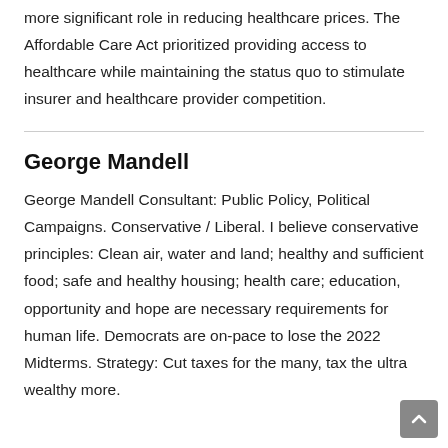more significant role in reducing healthcare prices. The Affordable Care Act prioritized providing access to healthcare while maintaining the status quo to stimulate insurer and healthcare provider competition.
George Mandell
George Mandell Consultant: Public Policy, Political Campaigns. Conservative / Liberal. I believe conservative principles: Clean air, water and land; healthy and sufficient food; safe and healthy housing; health care; education, opportunity and hope are necessary requirements for human life. Democrats are on-pace to lose the 2022 Midterms. Strategy: Cut taxes for the many, tax the ultra wealthy more.